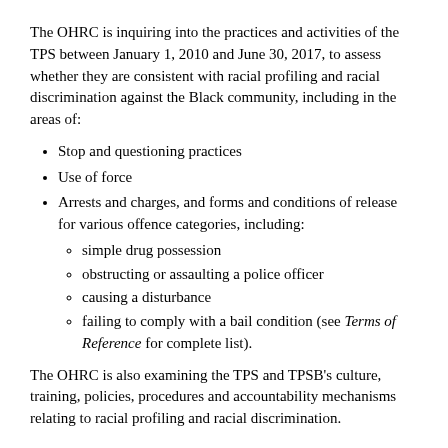The OHRC is inquiring into the practices and activities of the TPS between January 1, 2010 and June 30, 2017, to assess whether they are consistent with racial profiling and racial discrimination against the Black community, including in the areas of:
Stop and questioning practices
Use of force
Arrests and charges, and forms and conditions of release for various offence categories, including:
simple drug possession
obstructing or assaulting a police officer
causing a disturbance
failing to comply with a bail condition (see Terms of Reference for complete list).
The OHRC is also examining the TPS and TPSB's culture, training, policies, procedures and accountability mechanisms relating to racial profiling and racial discrimination.
Get involved
The OHRC is conducting research, retaining experts, consulting with key stakeholders, and receiving information from affected individuals, interested groups and organizations.